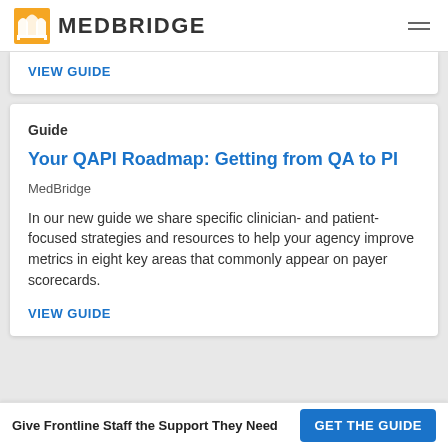MEDBRIDGE
VIEW GUIDE
Guide
Your QAPI Roadmap: Getting from QA to PI
MedBridge
In our new guide we share specific clinician- and patient-focused strategies and resources to help your agency improve metrics in eight key areas that commonly appear on payer scorecards.
VIEW GUIDE
Give Frontline Staff the Support They Need
GET THE GUIDE